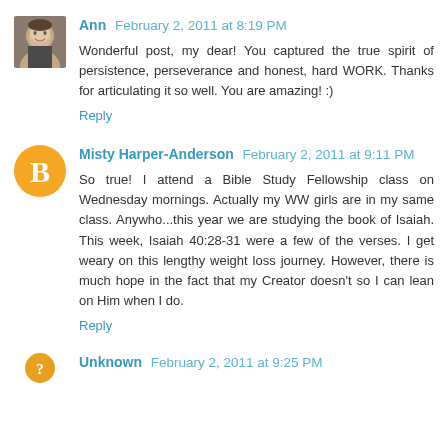[Figure (photo): Avatar photo of Ann, a woman]
Ann February 2, 2011 at 8:19 PM
Wonderful post, my dear! You captured the true spirit of persistence, perseverance and honest, hard WORK. Thanks for articulating it so well. You are amazing! :)
Reply
[Figure (logo): Blogger orange circle avatar with B logo for Misty Harper-Anderson]
Misty Harper-Anderson February 2, 2011 at 9:11 PM
So true! I attend a Bible Study Fellowship class on Wednesday mornings. Actually my WW girls are in my same class. Anywho...this year we are studying the book of Isaiah. This week, Isaiah 40:28-31 were a few of the verses. I get weary on this lengthy weight loss journey. However, there is much hope in the fact that my Creator doesn't so I can lean on Him when I do.
Reply
[Figure (illustration): Partial orange circle avatar for Unknown commenter]
Unknown February 2, 2011 at 9:25 PM